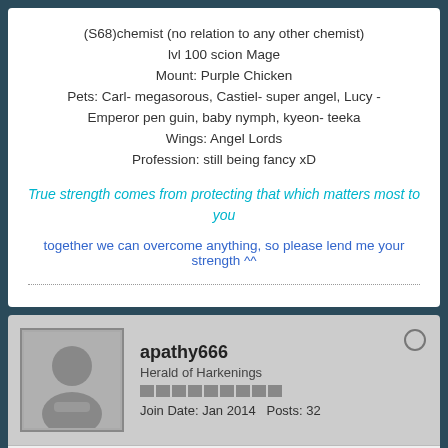(S68)chemist (no relation to any other chemist)
lvl 100 scion Mage
Mount: Purple Chicken
Pets: Carl- megasorous, Castiel- super angel, Lucy - Emperor pen guin, baby nymph, kyeon- teeka
Wings: Angel Lords
Profession: still being fancy xD
True strength comes from protecting that which matters most to you
together we can overcome anything, so please lend me your strength ^^
apathy666
Herald of Harkenings
Join Date: Jan 2014  Posts: 32
02-10-2014, 06:29 PM
#25
[Figure (screenshot): In-game screenshot with purple text overlaid showing chat messages: 'To [Derek]:i solo d to 56', '[Derek] whispers: Crissy bought me from MMO mAL all my MC', 'To [Derek]:beecz i knew lil need alot of materials to']